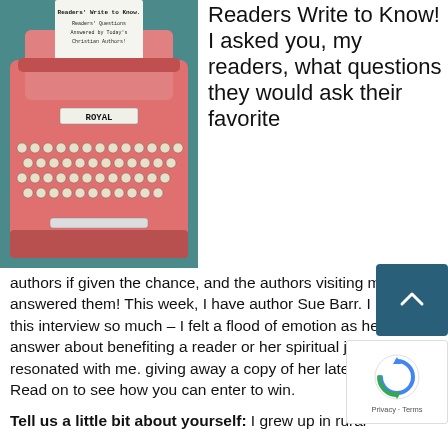[Figure (photo): Pink Royal typewriter with paper inserted showing text 'Readers Write to Know! Readers' Questions Answered by Today's Christian Authors!']
Readers Write to Know! I asked you, my readers, what questions they would ask their favorite authors if given the chance, and the authors visiting my blog answered them! This week, I have author Sue Barr. I loved this interview so much – I felt a flood of emotion as her answer about benefiting a reader or her spiritual journey really resonated with me. giving away a copy of her latest release! Read on to see how you can enter to win.
Tell us a little bit about yourself: I grew up in rural